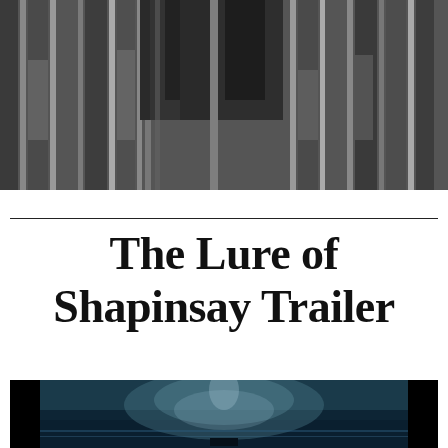[Figure (photo): Black and white photo of people standing near wooden fence or boards, cropped at top of page]
The Lure of Shapinsay Trailer
[Figure (photo): Dark atmospheric image with teal/blue misty ocean scene, possibly a video trailer thumbnail]